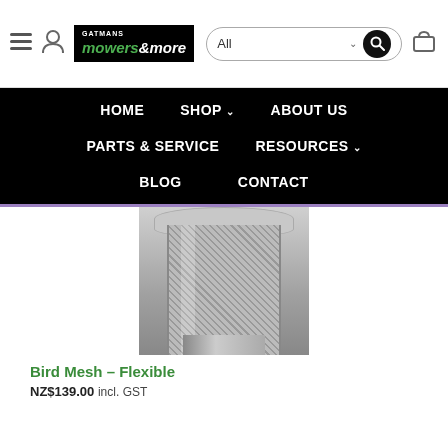Gatmans Mowers & More — Header navigation bar
[Figure (screenshot): Navigation menu with HOME, SHOP, ABOUT US, PARTS & SERVICE, RESOURCES, BLOG, CONTACT on black background]
[Figure (photo): Bird Mesh – Flexible product photo showing a metallic mesh cylindrical product]
Bird Mesh – Flexible
NZ$139.00 incl. GST